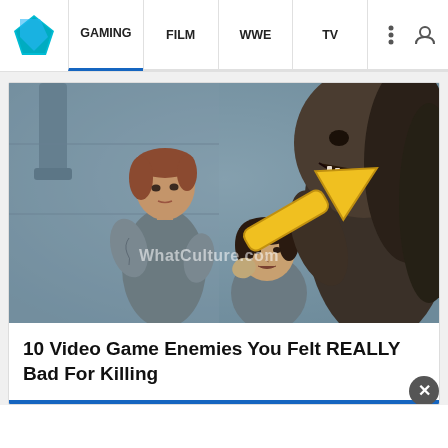WhatCulture — GAMING | FILM | WWE | TV
[Figure (screenshot): Screenshot from a video game (The Last of Us Part II style) showing three characters — two women and a monster — with a yellow arrow watermark and WhatCulture.com text overlay]
10 Video Game Enemies You Felt REALLY Bad For Killing